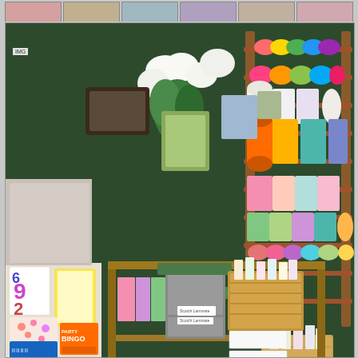[Figure (photo): Interior of a craft/stationery store or organized craft room. Dark green walls with a large wooden ribbon rack on the right holding many colorful ribbon spools in various colors. Center shelves hold labeled storage boxes in gray, green, white, and kraft brown. A bamboo organizer basket holds cards and papers. White flower arrangements and decorative items sit on top of the shelves. Left side has stacks of cards, books, a BINGO game box, and colorful merchandise. Bottom shelves show more organized boxes with label holders and teal/green decorative boxes. A large ampersand metal letter decoration sits on the lower right shelf area.]